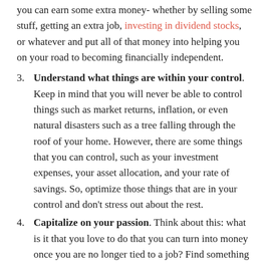you can earn some extra money- whether by selling some stuff, getting an extra job, investing in dividend stocks, or whatever and put all of that money into helping you on your road to becoming financially independent.
3. Understand what things are within your control. Keep in mind that you will never be able to control things such as market returns, inflation, or even natural disasters such as a tree falling through the roof of your home. However, there are some things that you can control, such as your investment expenses, your asset allocation, and your rate of savings. So, optimize those things that are in your control and don't stress out about the rest.
4. Capitalize on your passion. Think about this: what is it that you love to do that you can turn into money once you are no longer tied to a job? Find something